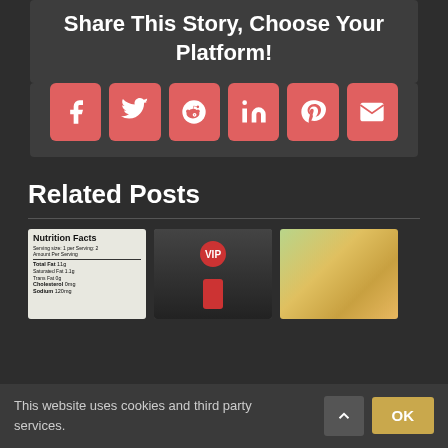Share This Story, Choose Your Platform!
[Figure (infographic): Six social media sharing buttons: Facebook, Twitter, Reddit, LinkedIn, Pinterest, Email — each in a red rounded square]
Related Posts
[Figure (photo): Nutrition Facts label close-up photo]
[Figure (photo): Person holding a red VIP tag next to a door]
[Figure (photo): Food dish with rice, vegetables and leafy greens in a white container]
This website uses cookies and third party services.